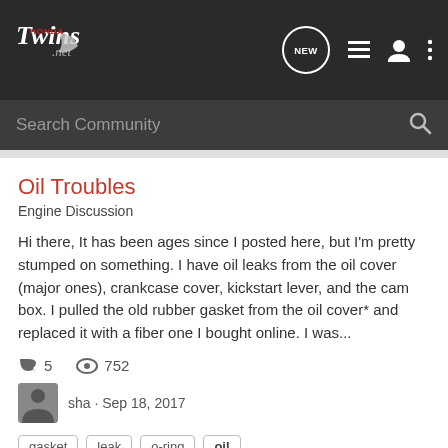[Figure (logo): HondaTwins.net logo with wing graphic]
Search Community
Oil Troubles
Engine Discussion
Hi there, It has been ages since I posted here, but I'm pretty stumped on something. I have oil leaks from the oil cover (major ones), crankcase cover, kickstart lever, and the cam box. I pulled the old rubber gasket from the oil cover* and replaced it with a fiber one I bought online. I was...
5   752
sha · Sep 18, 2017
gasket   leak   o-ring   oil
Rotella sale
Engine Discussion